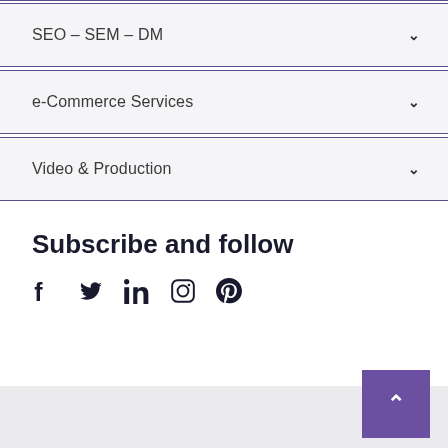SEO – SEM – DM
e-Commerce Services
Video & Production
Subscribe and follow
[Figure (other): Social media icons: Facebook, Twitter, LinkedIn, Instagram, Pinterest]
Back to top button